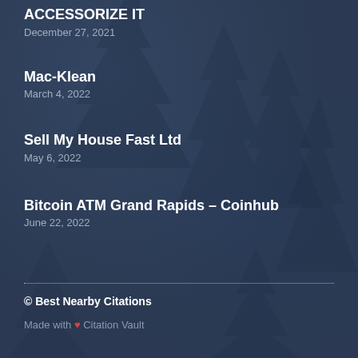ACCESSORIZE IT
December 27, 2021
Mac-Klean
March 4, 2022
Sell My House Fast Ltd
May 6, 2022
Bitcoin ATM Grand Rapids – Coinhub
June 22, 2022
© Best Nearby Citations
Made with ❤ Citation Vault